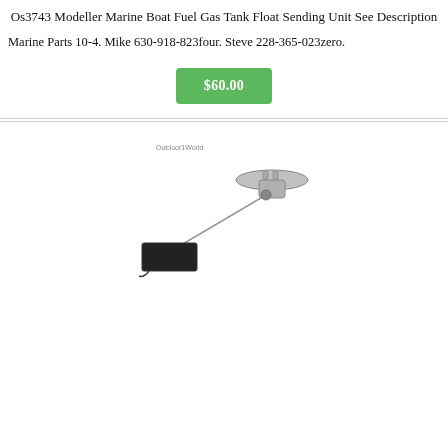Os3743 Modeller Marine Boat Fuel Gas Tank Float Sending Unit See Description
Marine Parts 10-4. Mike 630-918-823four. Steve 228-365-023zero.
$60.00
[Figure (photo): Photo of a marine boat fuel gas tank float sending unit, showing a metal disc-shaped sender unit with a rod arm and black float attached, watermarked Outdoor1World]